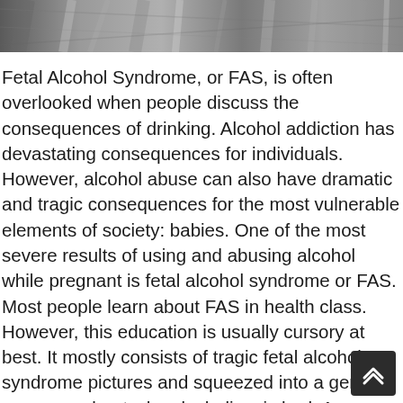[Figure (photo): Black and white photograph showing close-up of fabric or textile folds at the top of the page]
Fetal Alcohol Syndrome, or FAS, is often overlooked when people discuss the consequences of drinking. Alcohol addiction has devastating consequences for individuals. However, alcohol abuse can also have dramatic and tragic consequences for the most vulnerable elements of society: babies. One of the most severe results of using and abusing alcohol while pregnant is fetal alcohol syndrome or FAS. Most people learn about FAS in health class. However, this education is usually cursory at best. It mostly consists of tragic fetal alcohol syndrome pictures and squeezed into a general message about why alcoholism is bad. As a result, many people don't have a good idea of what FAS is, it is caused, the impact it can have on both children and